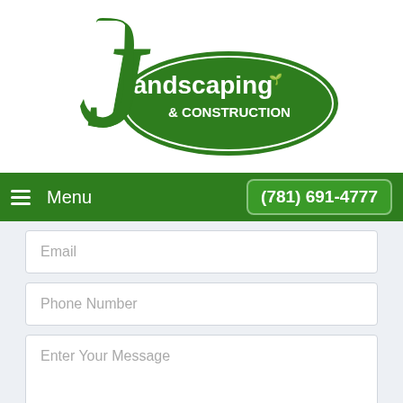[Figure (logo): J Landscaping & Construction logo — green oval with white text and stylized J]
Menu  (781) 691-4777
Email
Phone Number
Enter Your Message
Submit